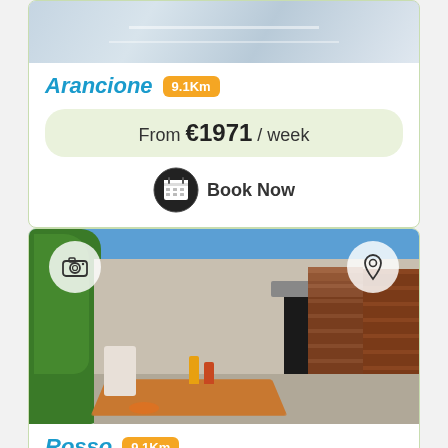[Figure (photo): Top portion of a property photo showing what appears to be a pool or terrace with glass/tile surfaces]
Arancione 9.1Km
From €1971 / week
Book Now
[Figure (photo): Outdoor terrace of property Rosso with dining table, chairs, bottles, wooden shutters and building facade under blue sky]
Rosso 9.1Km